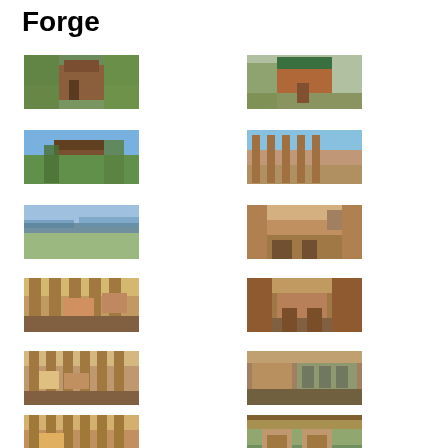Forge
[Figure (photo): Exterior photo of a log cabin with trees, mountain view]
[Figure (photo): Exterior photo of a multi-story log cabin with green roof]
[Figure (photo): Elevated log cabin surrounded by lush green trees]
[Figure (photo): Covered porch/deck with mountain view]
[Figure (photo): Mountain landscape view from cabin]
[Figure (photo): Interior great room with wood beams and furniture]
[Figure (photo): Interior living area with fireplace and dining]
[Figure (photo): Interior kitchen/dining area with wood finishes]
[Figure (photo): Interior room with pool table and wood ceiling]
[Figure (photo): Interior kitchen view]
[Figure (photo): Interior dining/living area with wood floors]
[Figure (photo): Outdoor covered deck with table and mountain view]